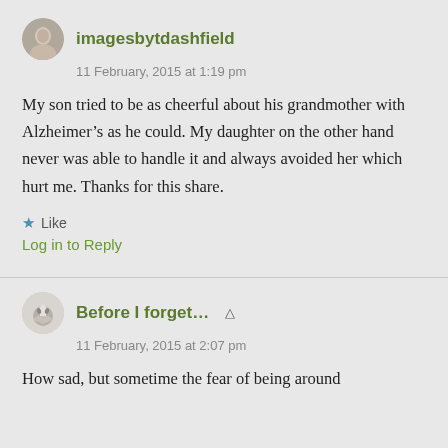imagesbytdashfield
11 February, 2015 at 1:19 pm
My son tried to be as cheerful about his grandmother with Alzheimer’s as he could. My daughter on the other hand never was able to handle it and always avoided her which hurt me. Thanks for this share.
★ Like
Log in to Reply
Before I forget...
11 February, 2015 at 2:07 pm
How sad, but sometime the fear of being around